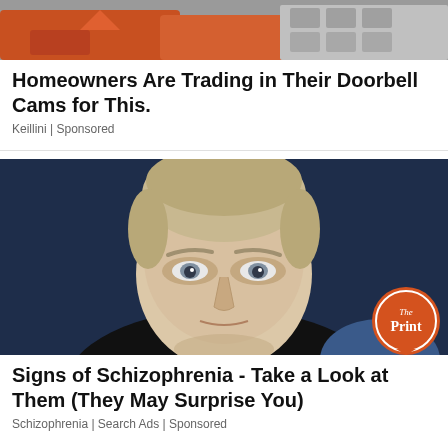[Figure (photo): Partial view of a home security product advertisement image — orange and gray tones at top]
Homeowners Are Trading in Their Doorbell Cams for This.
Keillini | Sponsored
[Figure (photo): Close-up portrait of a young man with short light hair, looking intensely at the camera against a dark blue background. The Print logo badge visible in the bottom right corner.]
Signs of Schizophrenia - Take a Look at Them (They May Surprise You)
Schizophrenia | Search Ads | Sponsored